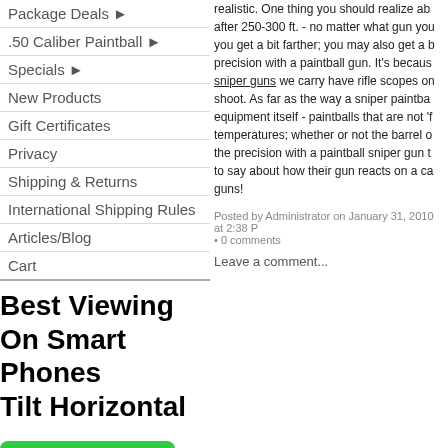Package Deals ►
.50 Caliber Paintball ►
Specials ►
New Products
Gift Certificates
Privacy
Shipping & Returns
International Shipping Rules
Articles/Blog
Cart
Best Viewing On Smart Phones Tilt Horizontal
[Figure (infographic): Green rating box with 4.44 stars out of 5, showing 4.44 Average and 16 Reviews, with Reviews.io logo below]
realistic.  One thing you should realize ab after 250-300 ft. - no matter what gun you you get a bit farther; you may also get a b precision with a paintball gun.  It's becaus sniper guns we carry have rifle scopes on shoot.  As far as the way a sniper paintba equipment itself - paintballs that are not 'f temperatures; whether or not the barrel o the precision with a paintball sniper gun t to say about how their gun reacts on a ca guns!
Posted by Administrator on January 31, 2010 at 2:38 P
• 0 comments
Leave a comment...